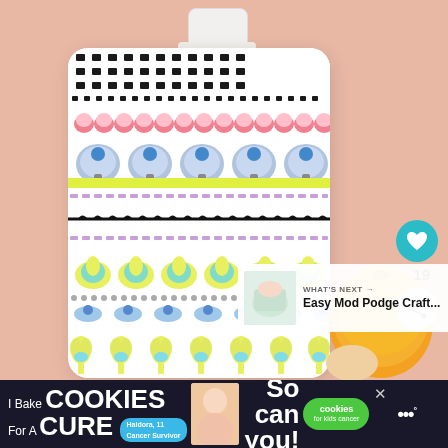[Figure (photo): A decorated reusable squeeze bottle or flask with colorful folk-art / Scandinavian-style patterns including black dots, pink flowers, blue mushrooms, yellow bands, purple lines, a black branch/leaf motif, teal and yellow floral designs, and yellow tulips. The bottle has a white pump/nozzle at top. Set against a pink background with an orange fruit visible to the right. UI overlays include a teal heart button showing 19 likes, a share button, and a 'WHAT'S NEXT' card showing 'Easy Mod Podge Craft...']
19
WHAT'S NEXT → Easy Mod Podge Craft...
I Bake COOKIES For A CURE  Haldora, 11 Cancer Survivor  So can you!  cookies for kids cancer